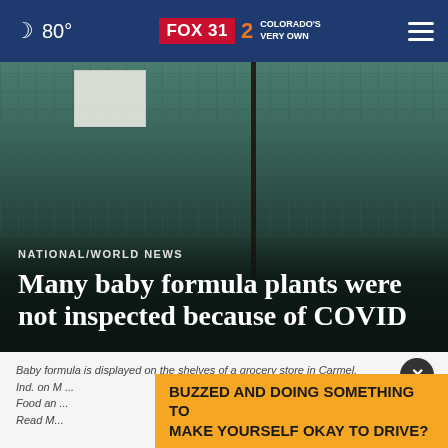80° FOX 31 2 COLORADO'S VERY OWN
[Figure (photo): Empty grocery store shelves with a notice sign posted, dark teal background with grid pattern]
NATIONAL/WORLD NEWS
Many baby formula plants were not inspected because of COVID
Baby formula is displayed on the shelves of a grocery store in Carmel, Ind. on M... require the Food an... Read M...
BUZZED AND DOING SOMETHING TO MAKE YOURSELF OKAY TO DRIVE?